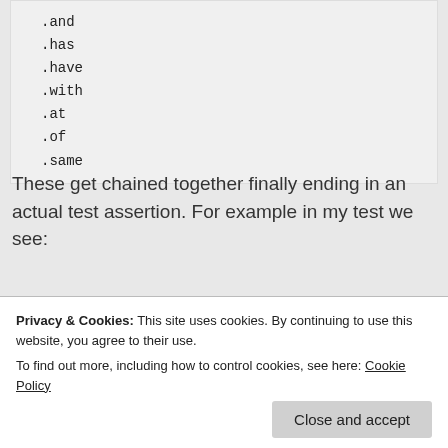[Figure (screenshot): Code block showing list of chaining methods: .and, .has, .have, .with, .at, .of, .same]
These get chained together finally ending in an actual test assertion. For example in my test we see:
[Figure (screenshot): Code block: expect(rng.list()).to.satisfy(isArrayOfStrings);]
This means that we expect that when
Privacy & Cookies: This site uses cookies. By continuing to use this website, you agree to their use. To find out more, including how to control cookies, see here: Cookie Policy
type of string. This is very flexible and